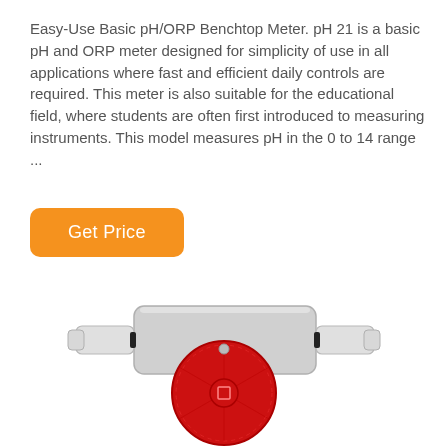Easy-Use Basic pH/ORP Benchtop Meter. pH 21 is a basic pH and ORP meter designed for simplicity of use in all applications where fast and efficient daily controls are required. This meter is also suitable for the educational field, where students are often first introduced to measuring instruments. This model measures pH in the 0 to 14 range ...
[Figure (other): Orange rounded rectangle button labeled 'Get Price']
[Figure (photo): Photo of an industrial sensor or probe device with a large red circular dial/cap in the center, gray rectangular body, and white cable glands on left and right sides.]